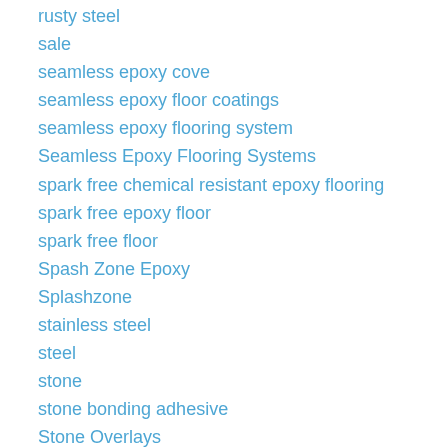rusty steel
sale
seamless epoxy cove
seamless epoxy floor coatings
seamless epoxy flooring system
Seamless Epoxy Flooring Systems
spark free chemical resistant epoxy flooring
spark free epoxy floor
spark free floor
Spash Zone Epoxy
Splashzone
stainless steel
steel
stone
stone bonding adhesive
Stone Overlays
Structural Repairs
Surface Preparation
Table Top & BarTop Epoxy and Casting Resin
Tile Adhesive